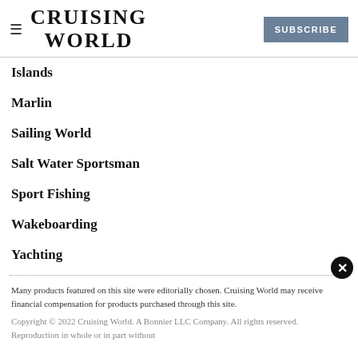CRUISING WORLD | SUBSCRIBE
Islands
Marlin
Sailing World
Salt Water Sportsman
Sport Fishing
Wakeboarding
Yachting
Many products featured on this site were editorially chosen. Cruising World may receive financial compensation for products purchased through this site.
Copyright © 2022 Cruising World. A Bonnier LLC Company. All rights reserved. Reproduction in whole or in part without